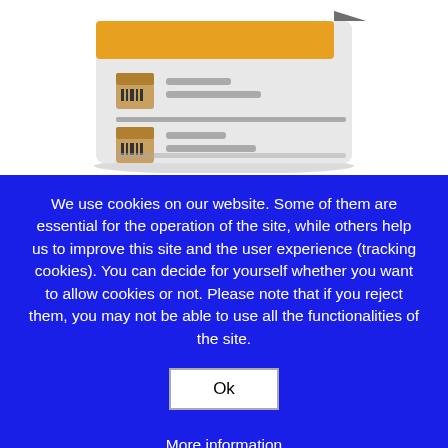[Figure (illustration): A stylized illustration of a document/file icon with an orange/yellow header bar, a folded corner tab at top right, and two rows each containing a small package/barcode icon on the left and grey horizontal lines representing text on the right. The document has a light grey background with a subtle shadow at the bottom.]
We use cookies on our website. Some of them are essential for the operation of the site, while others help us to improve this site and the user experience (tracking cookies). You can decide for yourself whether you want to allow cookies or not. Please note that if you reject them, you may not be able to use all the functionalities of the site.
Ok
More information